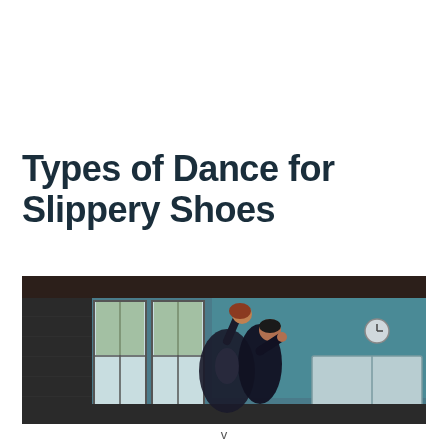Types of Dance for Slippery Shoes
[Figure (photo): Two dancers in a dance studio with teal walls and large windows. A man in black holds a woman in a black outfit as they perform a dramatic dance pose. The woman has auburn hair and the studio has mirrors visible in the background.]
v